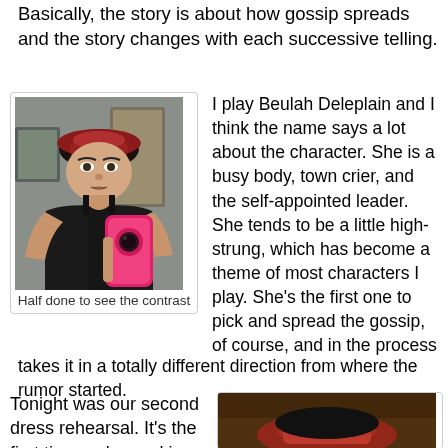Basically, the story is about how gossip spreads and the story changes with each successive telling.
[Figure (photo): Woman taking a selfie in mirror, wearing black tank top and red hat, holding pink phone]
Half done to see the contrast
I play Beulah Deleplain and I think the name says a lot about the character. She is a busy body, town crier, and the self-appointed leader. She tends to be a little high-strung, which has become a theme of most characters I play. She’s the first one to pick and spread the gossip, of course, and in the process takes it in a totally different direction from where the rumor started.
Tonight was our second dress rehearsal. It’s the first time we’re working on an actual stage and wearing costumes. There’s
[Figure (photo): Close-up photo of person wearing red hat, warm tones]